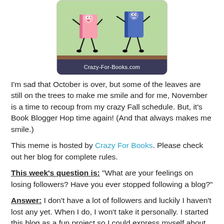[Figure (illustration): Two animated book characters dancing — a pink book on the left and a blue book on the right, on a light green background with a wooden floor. Text at bottom reads 'Crazy-For-Books.com']
I'm sad that October is over, but some of the leaves are still on the trees to make me smile and for me, November is a time to recoup from my crazy Fall schedule.  But, it's Book Blogger Hop time again!  (And that always makes me smile.)
This meme is hosted by Crazy For Books.  Please check out her blog for complete rules.
This week's question is:  "What are your feelings on losing followers?  Have you ever stopped following a blog?"
Answer:  I don't have a lot of followers and luckily I haven't lost any yet.  When I do, I won't take it personally.  I started this blog as a fun project so I could express myself about